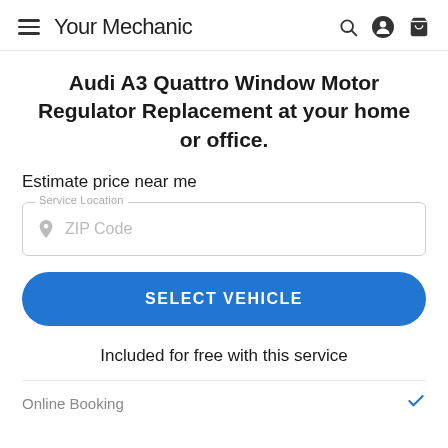YourMechanic
Audi A3 Quattro Window Motor Regulator Replacement at your home or office.
Estimate price near me
Service Location — ZIP Code
SELECT VEHICLE
Included for free with this service
Online Booking ✓